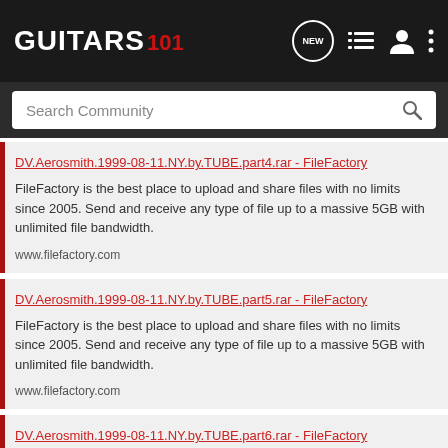GUITARS 101
Search Community
DV.Aerosmith.1999-08-11.NY.by.TUBE.part4.rar - FileFactory
FileFactory is the best place to upload and share files with no limits since 2005. Send and receive any type of file up to a massive 5GB with unlimited file bandwidth.
www.filefactory.com
DV.Aerosmith.1999-08-11.NY.by.TUBE.part5.rar - FileFactory
FileFactory is the best place to upload and share files with no limits since 2005. Send and receive any type of file up to a massive 5GB with unlimited file bandwidth.
www.filefactory.com
DV.Aerosmith.1999-08-11.NY.by.TUBE.part6.rar - FileFactory
FileFactory is the best place to upload and share files with no limits since 2005. Send and receive any type of file up to a massive 5GB